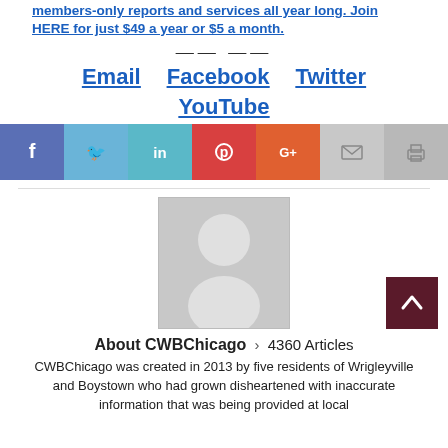members-only reports and services all year long. Join HERE for just $49 a year or $5 a month.
Email   Facebook   Twitter   YouTube
[Figure (infographic): Social share bar with icons for Facebook, Twitter, LinkedIn, Pinterest, Google+, Email, and Print]
[Figure (photo): Generic avatar placeholder image (gray silhouette of a person)]
About CWBChicago > 4360 Articles
CWBChicago was created in 2013 by five residents of Wrigleyville and Boystown who had grown disheartened with inaccurate information that was being provided at local